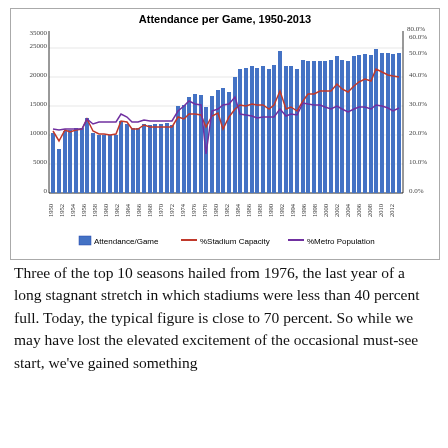[Figure (line-chart): Combined bar and dual-line chart showing Attendance/Game (blue bars), %Stadium Capacity (dark red line), and %Metro Population (dark red/maroon dashed line) from 1950 to 2013. Bars grow from ~12000-13000 in 1950 to ~30000+ by 2010s. Stadium capacity line stays around 30-35% range until late 1990s then rises to ~70%. Metro population line is relatively flat.]
Three of the top 10 seasons hailed from 1976, the last year of a long stagnant stretch in which stadiums were less than 40 percent full. Today, the typical figure is close to 70 percent. So while we may have lost the elevated excitement of the occasional must-see start, we've gained something